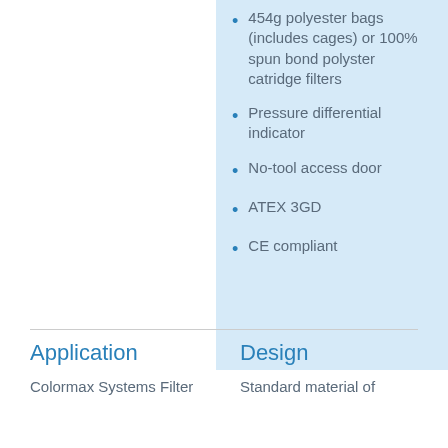454g polyester bags (includes cages) or 100% spun bond polyster catridge filters
Pressure differential indicator
No-tool access door
ATEX 3GD
CE compliant
Application
Design
Colormax Systems Filter
Standard material of